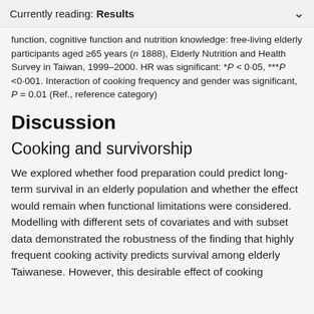Currently reading: Results
function, cognitive function and nutrition knowledge: free-living elderly participants aged ≥65 years (n 1888), Elderly Nutrition and Health Survey in Taiwan, 1999–2000. HR was significant: *P < 0·05, ***P <0·001. Interaction of cooking frequency and gender was significant, P = 0.01 (Ref., reference category)
Discussion
Cooking and survivorship
We explored whether food preparation could predict long-term survival in an elderly population and whether the effect would remain when functional limitations were considered. Modelling with different sets of covariates and with subset data demonstrated the robustness of the finding that highly frequent cooking activity predicts survival among elderly Taiwanese. However, this desirable effect of cooking